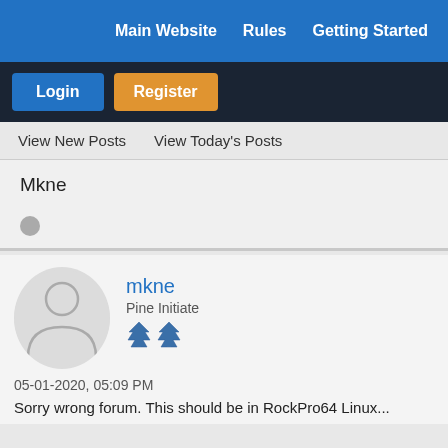Main Website   Rules   Getting Started
Login   Register
View New Posts   View Today's Posts
Mkne
mkne
Pine Initiate
05-01-2020, 05:09 PM
Sorry wrong forum. This should be in RockPro64 Linux...